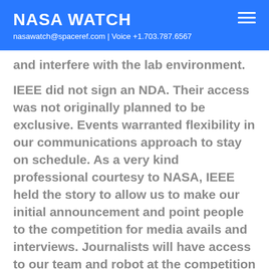NASA WATCH
nasawatch@spaceref.com | Voice +1.703.787.6567
and interfere with the lab environment.
IEEE did not sign an NDA. Their access was not originally planned to be exclusive. Events warranted flexibility in our communications approach to stay on schedule. As a very kind professional courtesy to NASA, IEEE held the story to allow us to make our initial announcement and point people to the competition for media avails and interviews. Journalists will have access to our team and robot at the competition Dec. 20-21 – l